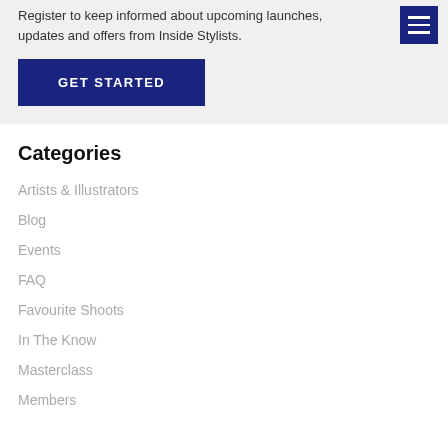Register to keep informed about upcoming launches, updates and offers from Inside Stylists.
GET STARTED
Categories
Artists & Illustrators
Blog
Events
FAQ
Favourite Shoots
In The Know
Masterclass
Members